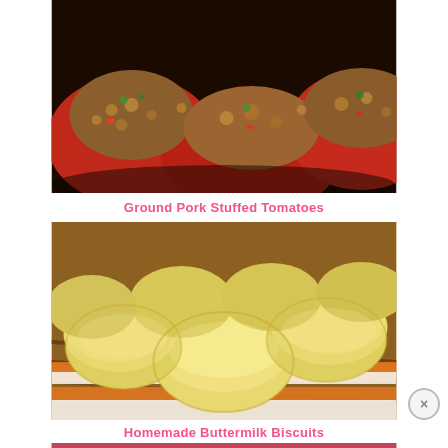[Figure (photo): Close-up photo of stuffed tomatoes filled with ground pork mixture, topped with breadcrumbs and herbs, on a dark background]
Ground Pork Stuffed Tomatoes
[Figure (photo): Close-up photo of golden homemade buttermilk biscuits piled in a wicker basket lined with an orange-striped white kitchen towel]
Homemade Buttermilk Biscuits
[Figure (photo): Restaurant Recipes banner image with text overlay and partial view of a table setting below]
RESTAURANT RECIPES